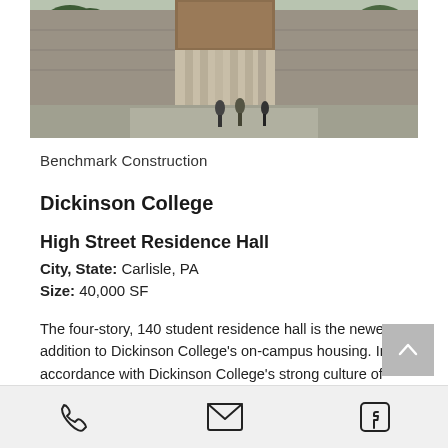[Figure (photo): Exterior photo of a modern stone and wood building entrance with trees and greenery, appears to be a college campus residence hall]
Benchmark Construction
Dickinson College
High Street Residence Hall
City, State: Carlisle, PA
Size: 40,000 SF
The four-story, 140 student residence hall is the newest addition to Dickinson College's on-campus housing. In accordance with Dickinson College's strong culture of sustainability, the new
Phone | Email | Facebook